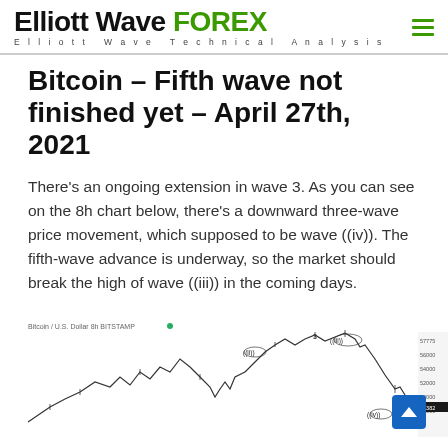Elliott Wave FOREX — Elliott Wave Technical Analysis
Bitcoin – Fifth wave not finished yet – April 27th, 2021
There's an ongoing extension in wave 3. As you can see on the 8h chart below, there's a downward three-wave price movement, which supposed to be wave ((iv)). The fifth-wave advance is underway, so the market should break the high of wave ((iii)) in the coming days.
[Figure (screenshot): Bitcoin / U.S. Dollar 8h BITSTAMP chart showing Elliott Wave analysis with labeled waves including (iii), (iv) markings and candlestick price action]